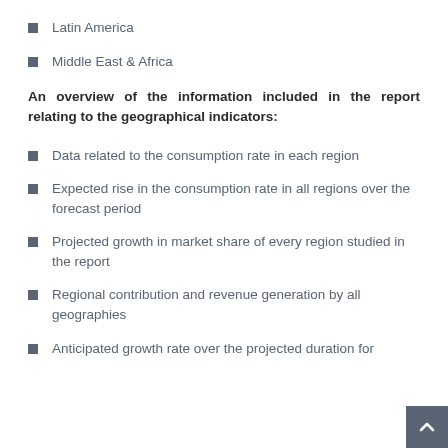Latin America
Middle East & Africa
An overview of the information included in the report relating to the geographical indicators:
Data related to the consumption rate in each region
Expected rise in the consumption rate in all regions over the forecast period
Projected growth in market share of every region studied in the report
Regional contribution and revenue generation by all geographies
Anticipated growth rate over the projected duration for